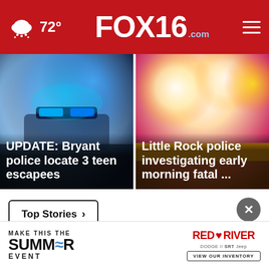72° FOX16.com
[Figure (photo): Police car with blue flashing lights on top, blurred background]
UPDATE: Bryant police locate 3 teen escapees
[Figure (photo): Emergency vehicle lights red, blue and yellow at night scene]
Little Rock police investigating early morning fatal ...
Top Stories ›
[Figure (infographic): Red River Dodge Chrysler Jeep advertisement - MAKE THIS THE SUMMER EVENT]